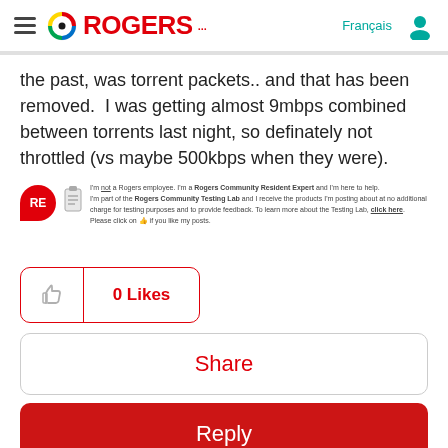Rogers – Français
the past, was torrent packets.. and that has been removed.  I was getting almost 9mbps combined between torrents last night, so definately not throttled (vs maybe 500kbps when they were).
[Figure (other): Resident Expert signature block with RE badge, clipboard icon, and text: I'm not a Rogers employee. I'm a Rogers Community Resident Expert and I'm here to help. I'm part of the Rogers Community Testing Lab and I receive the products I'm posting about at no additional charge for testing purposes and to provide feedback. To learn more about the Testing Lab, click here. Please click on thumbs up if you like my posts.]
0 Likes
Share
Reply